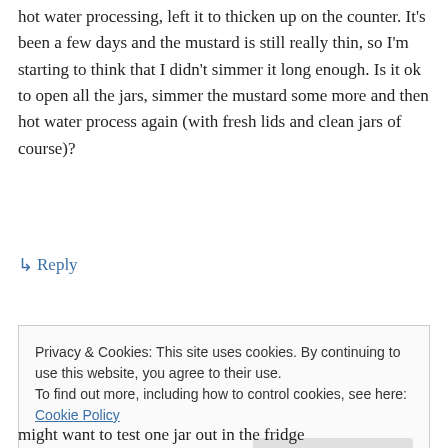hot water processing, left it to thicken up on the counter. It's been a few days and the mustard is still really thin, so I'm starting to think that I didn't simmer it long enough. Is it ok to open all the jars, simmer the mustard some more and then hot water process again (with fresh lids and clean jars of course)?
↳ Reply
Privacy & Cookies: This site uses cookies. By continuing to use this website, you agree to their use.
To find out more, including how to control cookies, see here: Cookie Policy
Close and accept
might want to test one jar out in the fridge